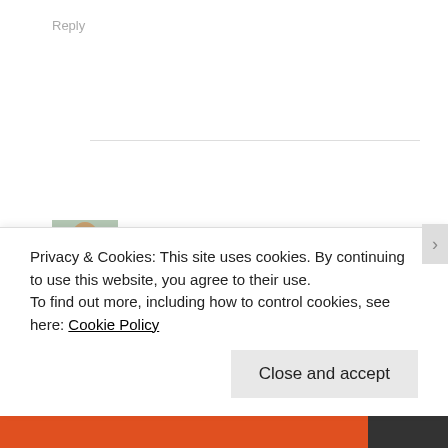Reply
[Figure (photo): Small avatar photo of a person in a teal/green outfit]
Wild Juggler · June 11, 2013
Brilliantly written. I am sad for your loss. I don't
Privacy & Cookies: This site uses cookies. By continuing to use this website, you agree to their use.
To find out more, including how to control cookies, see here: Cookie Policy
Close and accept